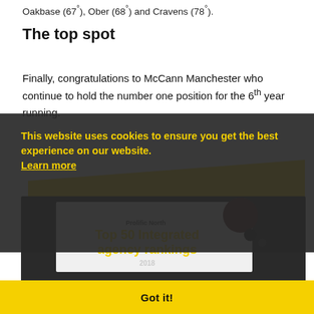Oakbase (67°), Ober (68°) and Cravens (78°).
The top spot
Finally, congratulations to McCann Manchester who continue to hold the number one position for the 6th year running.
[Figure (illustration): Prolific North Top 50 Integrated agency rankings 2018 promotional image with yellow brush strokes and dark overlay, showing a document card with keyboard in background.]
This website uses cookies to ensure you get the best experience on our website. Learn more
Got it!